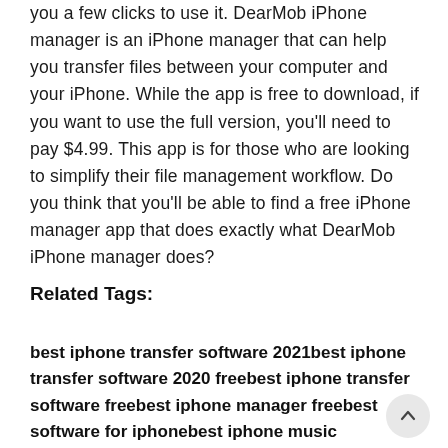you a few clicks to use it. DearMob iPhone manager is an iPhone manager that can help you transfer files between your computer and your iPhone. While the app is free to download, if you want to use the full version, you'll need to pay $4.99. This app is for those who are looking to simplify their file management workflow. Do you think that you'll be able to find a free iPhone manager app that does exactly what DearMob iPhone manager does?
Related Tags:
best iphone transfer software 2021best iphone transfer software 2020 freebest iphone transfer software freebest iphone manager freebest software for iphonebest iphone music manager,People also search for,Feedback,Privacy settings,How Search works,iMazing,AnyTrans,Syncios,MediaMon...,See more,best iphone transfer software 2021,best iphone transfer software 2020 free,best iphone transfer software free,best iphone manager free,best software for iphone transfer